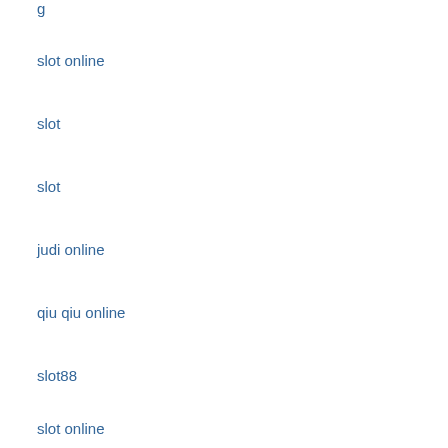slot online
slot
slot
judi online
qiu qiu online
slot88
slot online